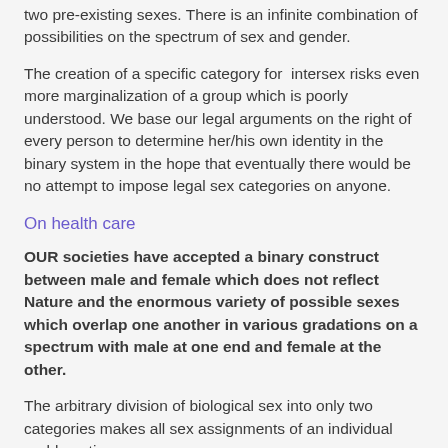two pre-existing sexes. There is an infinite combination of possibilities on the spectrum of sex and gender.
The creation of a specific category for intersex risks even more marginalization of a group which is poorly understood. We base our legal arguments on the right of every person to determine her/his own identity in the binary system in the hope that eventually there would be no attempt to impose legal sex categories on anyone.
On health care
OUR societies have accepted a binary construct between male and female which does not reflect Nature and the enormous variety of possible sexes which overlap one another in various gradations on a spectrum with male at one end and female at the other.
The arbitrary division of biological sex into only two categories makes all sex assignments of an individual problematic.
Neither the genitalia, nor the chromosomes help one determine the “true” sex of an infant.